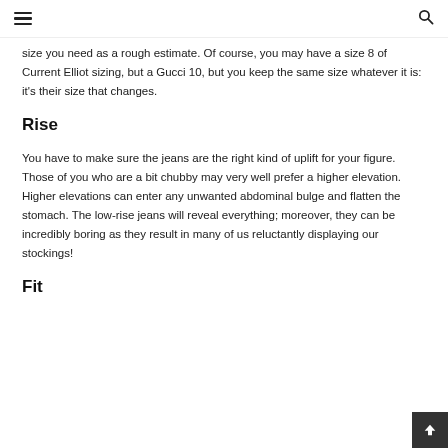≡  [search icon]
size you need as a rough estimate. Of course, you may have a size 8 of Current Elliot sizing, but a Gucci 10, but you keep the same size whatever it is: it's their size that changes.
Rise
You have to make sure the jeans are the right kind of uplift for your figure. Those of you who are a bit chubby may very well prefer a higher elevation. Higher elevations can enter any unwanted abdominal bulge and flatten the stomach. The low-rise jeans will reveal everything; moreover, they can be incredibly boring as they result in many of us reluctantly displaying our stockings!
Fit